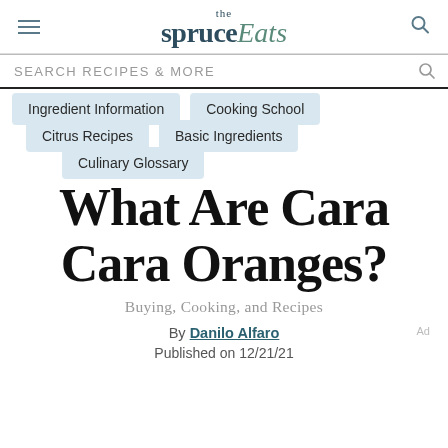the spruce Eats
SEARCH RECIPES & MORE
Ingredient Information
Cooking School
Citrus Recipes
Basic Ingredients
Culinary Glossary
What Are Cara Cara Oranges?
Buying, Cooking, and Recipes
By Danilo Alfaro
Published on 12/21/21